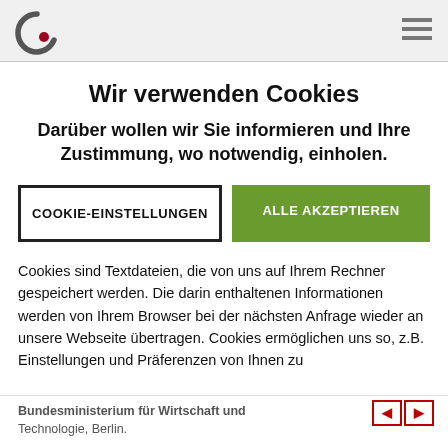Wir verwenden Cookies
Darüber wollen wir Sie informieren und Ihre Zustimmung, wo notwendig, einholen.
COOKIE-EINSTELLUNGEN
ALLE AKZEPTIEREN
Cookies sind Textdateien, die von uns auf Ihrem Rechner gespeichert werden. Die darin enthaltenen Informationen werden von Ihrem Browser bei der nächsten Anfrage wieder an unsere Webseite übertragen. Cookies ermöglichen uns so, z.B. Einstellungen und Präferenzen von Ihnen zu
Bundesministerium für Wirtschaft und Technologie, Berlin.